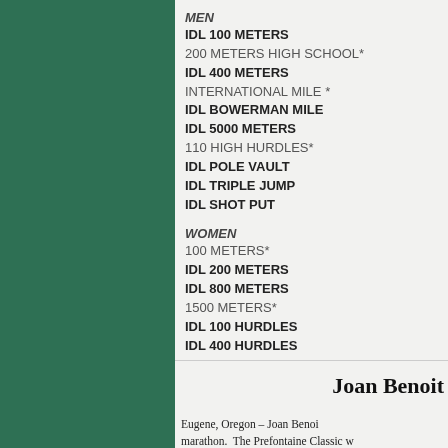[Figure (other): Dark green decorative panel on the left side of the page]
MEN
IDL 100 METERS
200 METERS HIGH SCHOOL*
IDL 400 METERS
INTERNATIONAL MILE *
IDL BOWERMAN MILE
IDL 5000 METERS
110 HIGH HURDLES*
IDL POLE VAULT
IDL TRIPLE JUMP
IDL SHOT PUT
WOMEN
100 METERS*
IDL 200 METERS
IDL 800 METERS
1500 METERS*
IDL 100 HURDLES
IDL 400 HURDLES
IDL HIGH JUMP
Joan Benoit
Eugene, Oregon – Joan Benoit marathon.  The Prefontaine Classic w incredible on Friday, May 30…